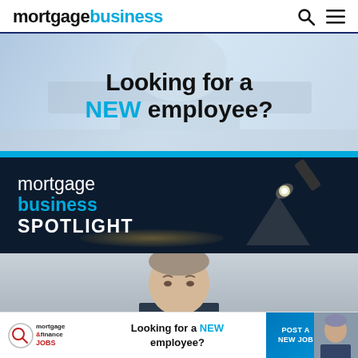mortgagebusiness
[Figure (photo): Advertisement banner: Looking for a NEW employee? text over light blue/white office background with cyan bar at bottom]
[Figure (infographic): Mortgage Business Spotlight dark navy banner with spotlight torch beam graphic and glowing ellipse on floor]
[Figure (photo): Partial photo of a man in a suit, cropped showing forehead and eyes]
[Figure (infographic): Bottom advertisement bar: mortgage & finance jobs logo, Looking for a NEW employee? text, POST A NEW JOB button with photo of person at desk]